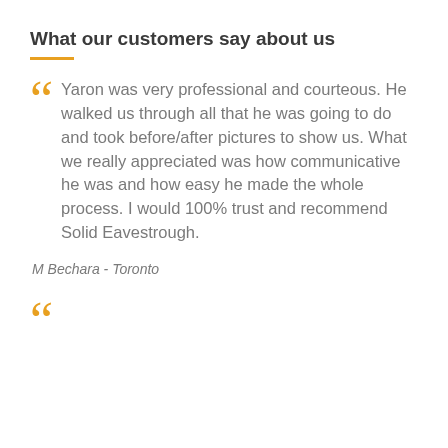What our customers say about us
Yaron was very professional and courteous. He walked us through all that he was going to do and took before/after pictures to show us. What we really appreciated was how communicative he was and how easy he made the whole process. I would 100% trust and recommend Solid Eavestrough.
M Bechara - Toronto